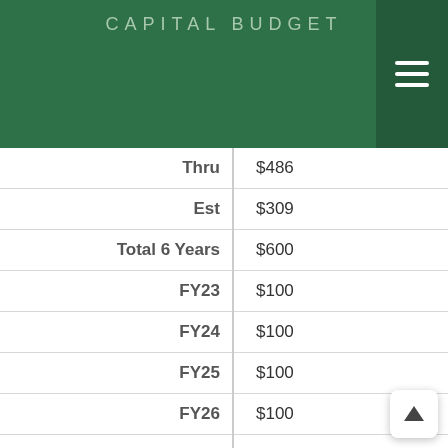CAPITAL BUDGET
| Label | Value |
| --- | --- |
| Thru | $486 |
| Est | $309 |
| Total 6 Years | $600 |
| FY23 | $100 |
| FY24 | $100 |
| FY25 | $100 |
| FY26 | $100 |
| FY27 | $100 |
| FY28 | $100 |